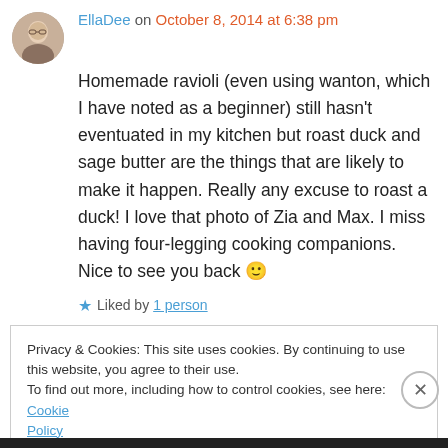EllaDee on October 8, 2014 at 6:38 pm
Homemade ravioli (even using wanton, which I have noted as a beginner) still hasn't eventuated in my kitchen but roast duck and sage butter are the things that are likely to make it happen. Really any excuse to roast a duck! I love that photo of Zia and Max. I miss having four-legging cooking companions. Nice to see you back 🙂
Liked by 1 person
Privacy & Cookies: This site uses cookies. By continuing to use this website, you agree to their use. To find out more, including how to control cookies, see here: Cookie Policy
Close and accept